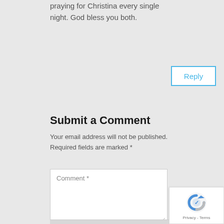praying for Christina every single night. God bless you both.
Reply
Submit a Comment
Your email address will not be published. Required fields are marked *
Comment *
[Figure (other): reCAPTCHA badge with logo and Privacy - Terms text]